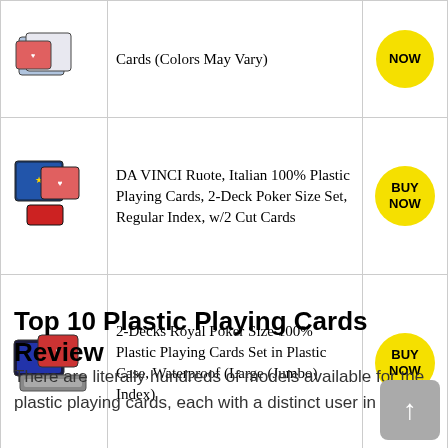| Image | Product | Buy |
| --- | --- | --- |
| [playing cards image] | Cards (Colors May Vary) | NOW |
| [DA VINCI cards image] | DA VINCI Ruote, Italian 100% Plastic Playing Cards, 2-Deck Poker Size Set, Regular Index, w/2 Cut Cards | BUY NOW |
| [Royal poker cards image] | 2-Decks Royal Poker Size 100% Plastic Playing Cards Set in Plastic Case, Waterproof (Large (Jumbo) Index) | BUY NOW |
Top 10 Plastic Playing Cards Review
There are literally hundreds of models available for the plastic playing cards, each with a distinct user in